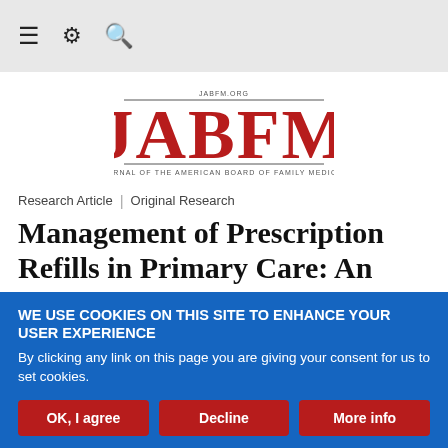≡ ⚙ 🔍
[Figure (logo): JABFM - Journal of the American Board of Family Medicine logo with red text and horizontal lines]
Research Article | Original Research
Management of Prescription Refills in Primary Care: An Oklahoma Physicians Resource/Research
WE USE COOKIES ON THIS SITE TO ENHANCE YOUR USER EXPERIENCE
By clicking any link on this page you are giving your consent for us to set cookies.
OK, I agree | Decline | More info